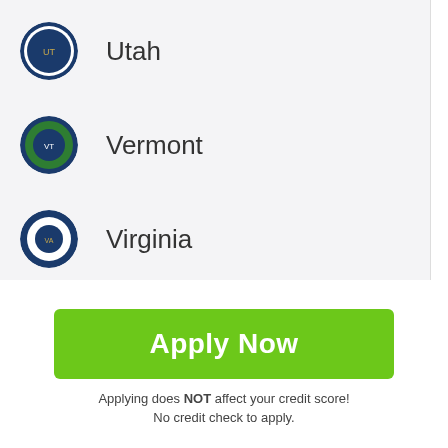Utah
Vermont
Virginia
Washington
West Virginia
Wisconsin
[Figure (other): Scroll to top button with upward arrow icon]
Apply Now
Applying does NOT affect your credit score! No credit check to apply.